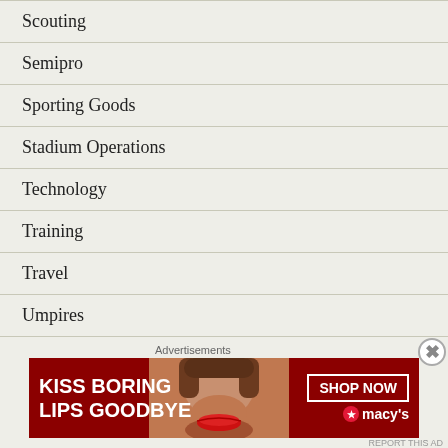Scouting
Semipro
Sporting Goods
Stadium Operations
Technology
Training
Travel
Umpires
Uncategorized
Welcome
Advertisements
[Figure (photo): Macy's advertisement banner: KISS BORING LIPS GOODBYE with SHOP NOW button and Macy's star logo, featuring a woman's face with red lips]